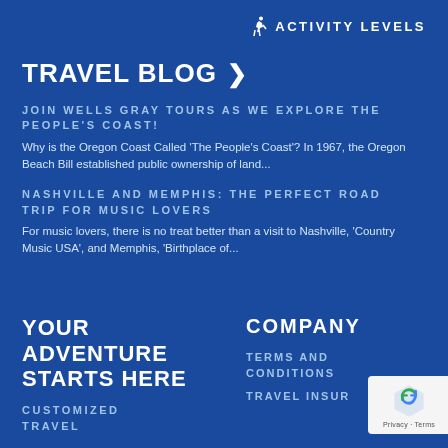ACTIVITY LEVELS
TRAVEL BLOG >
JOIN WELLS GRAY TOURS AS WE EXPLORE THE PEOPLE'S COAST!
Why is the Oregon Coast Called 'The People's Coast'? In 1967, the Oregon Beach Bill established public ownership of land...
NASHVILLE AND MEMPHIS: THE PERFECT ROAD TRIP FOR MUSIC LOVERS
For music lovers, there is no treat better than a visit to Nashville, 'Country Music USA', and Memphis, 'Birthplace of...
YOUR ADVENTURE STARTS HERE
CUSTOMIZED TRAVEL
COMPANY
TERMS AND CONDITIONS
TRAVEL INSUR...